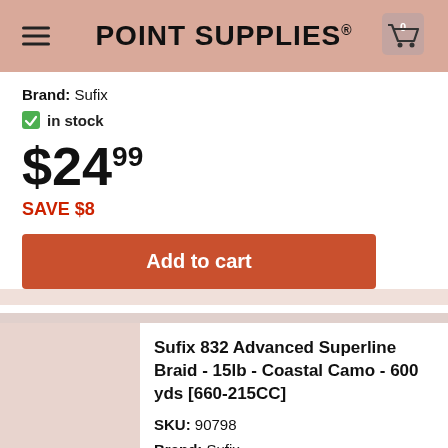POINT SUPPLIES
Brand: Sufix
in stock
$24.99
SAVE $8
Add to cart
Sufix 832 Advanced Superline Braid - 15lb - Coastal Camo - 600 yds [660-215CC]
SKU: 90798
Brand: Sufix
in stock